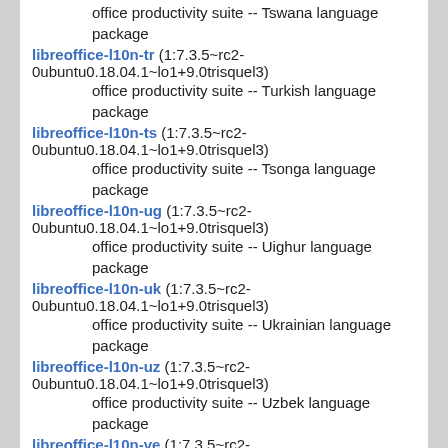office productivity suite -- Tswana language package
libreoffice-l10n-tr (1:7.3.5~rc2-0ubuntu0.18.04.1~lo1+9.0trisquel3)
    office productivity suite -- Turkish language package
libreoffice-l10n-ts (1:7.3.5~rc2-0ubuntu0.18.04.1~lo1+9.0trisquel3)
    office productivity suite -- Tsonga language package
libreoffice-l10n-ug (1:7.3.5~rc2-0ubuntu0.18.04.1~lo1+9.0trisquel3)
    office productivity suite -- Uighur language package
libreoffice-l10n-uk (1:7.3.5~rc2-0ubuntu0.18.04.1~lo1+9.0trisquel3)
    office productivity suite -- Ukrainian language package
libreoffice-l10n-uz (1:7.3.5~rc2-0ubuntu0.18.04.1~lo1+9.0trisquel3)
    office productivity suite -- Uzbek language package
libreoffice-l10n-ve (1:7.3.5~rc2-0ubuntu0.18.04.1~lo1+9.0trisquel3)
    office productivity suite -- Venda language package
libreoffice-l10n-vi (1:7.3.5~rc2-0ubuntu0.18.04.1~lo1+9.0trisquel3)